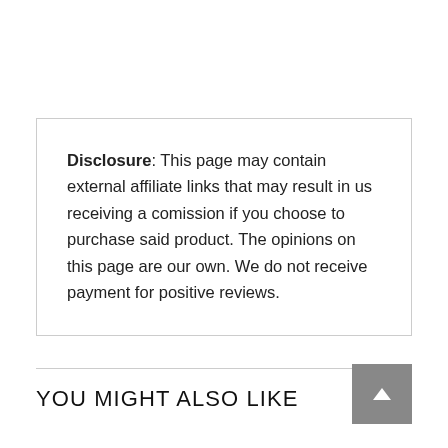Disclosure: This page may contain external affiliate links that may result in us receiving a comission if you choose to purchase said product. The opinions on this page are our own. We do not receive payment for positive reviews.
YOU MIGHT ALSO LIKE